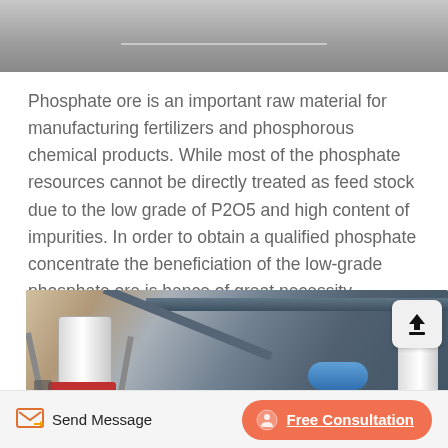[Figure (photo): Top portion of an industrial/concrete structure, grey textured surface with a horizontal line visible]
Phosphate ore is an important raw material for manufacturing fertilizers and phosphorous chemical products. While most of the phosphate resources cannot be directly treated as feed stock due to the low grade of P2O5 and high content of impurities. In order to obtain a qualified phosphate concentrate the beneficiation of the low-grade phosphate ore is hence of great necessity.
[Figure (photo): Industrial mining/processing equipment showing a cone crusher or similar machine with a cylindrical white body, red base, metal support beams, blue spiral tube, and a white silo in the background. An upload/share button icon is visible in the top right corner of the image.]
Send Message
Free Consultation